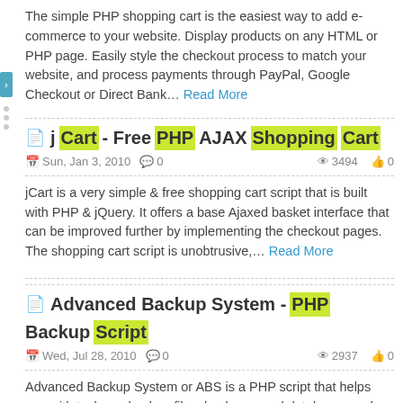The simple PHP shopping cart is the easiest way to add e-commerce to your website. Display products on any HTML or PHP page. Easily style the checkout process to match your website, and process payments through PayPal, Google Checkout or Direct Bank... Read More
jCart - Free PHP AJAX Shopping Cart
Sun, Jan 3, 2010   0   3494   0
jCart is a very simple & free shopping cart script that is built with PHP & jQuery. It offers a base Ajaxed basket interface that can be improved further by implementing the checkout pages. The shopping cart script is unobtrusive,... Read More
Advanced Backup System - PHP Backup Script
Wed, Jul 28, 2010   0   2937   0
Advanced Backup System or ABS is a PHP script that helps you with tasks as backup files, backup mysql databases and